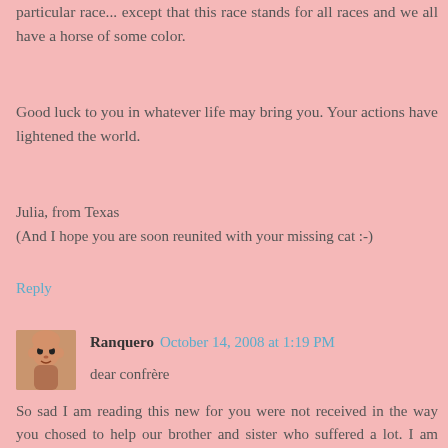particular race... except that this race stands for all races and we all have a horse of some color.
Good luck to you in whatever life may bring you. Your actions have lightened the world.
Julia, from Texas
(And I hope you are soon reunited with your missing cat :-)
Reply
Ranquero  October 14, 2008 at 1:19 PM
dear confrère
So sad I am reading this new for you were not received in the way you chosed to help our brother and sister who suffered a lot. I am french priest and star working with gay and lesbian christian and I knew as you the sufferinf they crossed to find their own way in our world. Great sorrow to see that the Church of Jesus isn' ready to hera the call of one part of his shepherd which just want to leave his live in a more integrated way.. May the bishop ear the voice of his